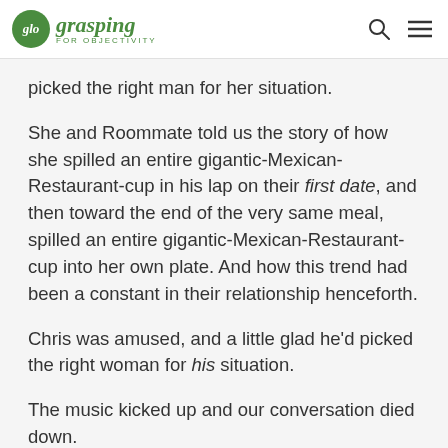glo grasping FOR OBJECTIVITY
picked the right man for her situation.
She and Roommate told us the story of how she spilled an entire gigantic-Mexican-Restaurant-cup in his lap on their first date, and then toward the end of the very same meal, spilled an entire gigantic-Mexican-Restaurant-cup into her own plate. And how this trend had been a constant in their relationship henceforth.
Chris was amused, and a little glad he'd picked the right woman for his situation.
The music kicked up and our conversation died down.